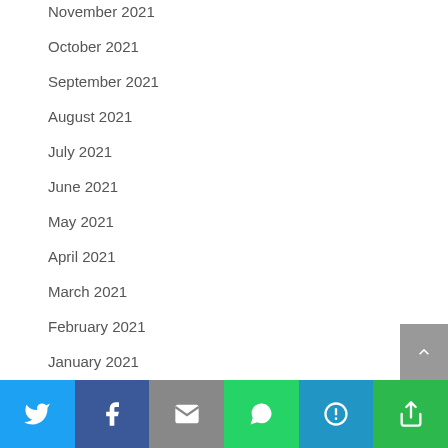November 2021
October 2021
September 2021
August 2021
July 2021
June 2021
May 2021
April 2021
March 2021
February 2021
January 2021
November 2020
September 2016